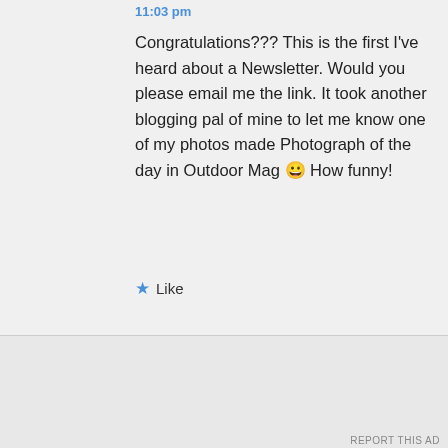11:03 pm
Congratulations??? This is the first I've heard about a Newsletter. Would you please email me the link. It took another blogging pal of mine to let me know one of my photos made Photograph of the day in Outdoor Mag 😀 How funny!
★ Like
Advertisements